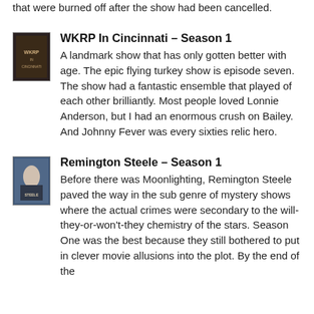that were burned off after the show had been cancelled.
WKRP In Cincinnati – Season 1
A landmark show that has only gotten better with age. The epic flying turkey show is episode seven. The show had a fantastic ensemble that played of each other brilliantly. Most people loved Lonnie Anderson, but I had an enormous crush on Bailey. And Johnny Fever was every sixties relic hero.
Remington Steele – Season 1
Before there was Moonlighting, Remington Steele paved the way in the sub genre of mystery shows where the actual crimes were secondary to the will-they-or-won't-they chemistry of the stars. Season One was the best because they still bothered to put in clever movie allusions into the plot. By the end of the